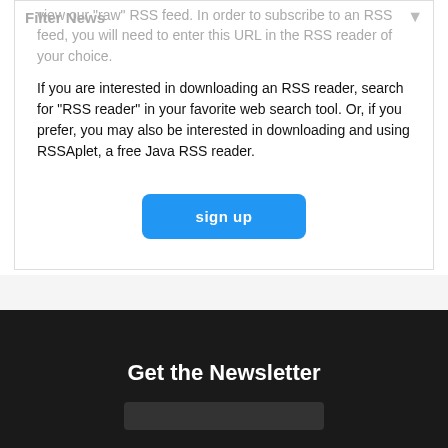Filter News
view our "raw" RSS feed. In order to subscribe to an RSS feed, you will need to enter this URL in the RSS reader of your choice.
If you are interested in downloading an RSS reader, search for "RSS reader" in your favorite web search tool. Or, if you prefer, you may also be interested in downloading and using RSSAplet, a free Java RSS reader.
sign up
Get the Newsletter